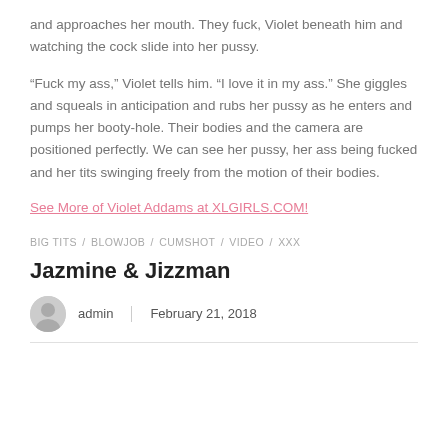and approaches her mouth. They fuck, Violet beneath him and watching the cock slide into her pussy.
“Fuck my ass,” Violet tells him. “I love it in my ass.” She giggles and squeals in anticipation and rubs her pussy as he enters and pumps her booty-hole. Their bodies and the camera are positioned perfectly. We can see her pussy, her ass being fucked and her tits swinging freely from the motion of their bodies.
See More of Violet Addams at XLGIRLS.COM!
BIG TITS / BLOWJOB / CUMSHOT / VIDEO / XXX
Jazmine & Jizzman
admin   February 21, 2018